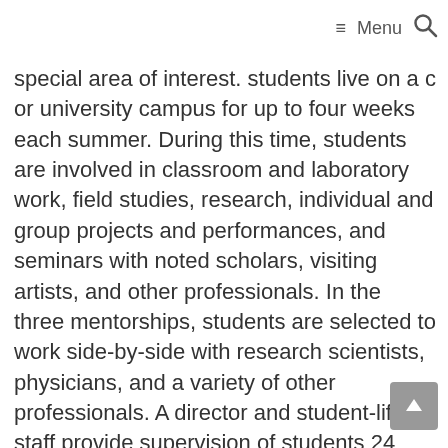≡ Menu 🔍
special area of interest. students live on a college or university campus for up to four weeks each summer. During this time, students are involved in classroom and laboratory work, field studies, research, individual and group projects and performances, and seminars with noted scholars, visiting artists, and other professionals. In the three mentorships, students are selected to work side-by-side with research scientists, physicians, and a variety of other professionals. A director and student-life staff provide supervision of students 24 hours a day, throughout the program.